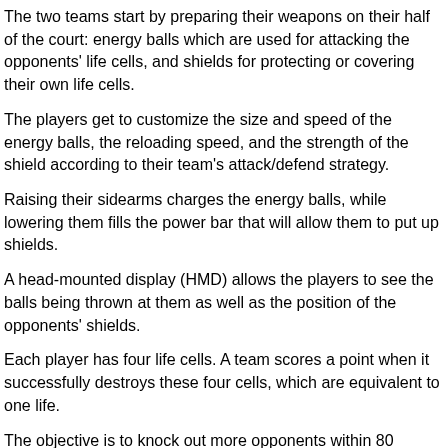The two teams start by preparing their weapons on their half of the court: energy balls which are used for attacking the opponents' life cells, and shields for protecting or covering their own life cells.
The players get to customize the size and speed of the energy balls, the reloading speed, and the strength of the shield according to their team's attack/defend strategy.
Raising their sidearms charges the energy balls, while lowering them fills the power bar that will allow them to put up shields.
A head-mounted display (HMD) allows the players to see the balls being thrown at them as well as the position of the opponents' shields.
Each player has four life cells. A team scores a point when it successfully destroys these four cells, which are equivalent to one life.
The objective is to knock out more opponents within 80 seconds. “It seems short, but when we played it the first time, we were all lying down after,” Coloma says.
Spectators or viewers watching on TV can follow the action on a giant screen where they can see the players exchange a barrage of colorcoded energy balls and shields as they dive, duck and zip around the court.
Hado is realistic enough that players have been known to trip or fall as they